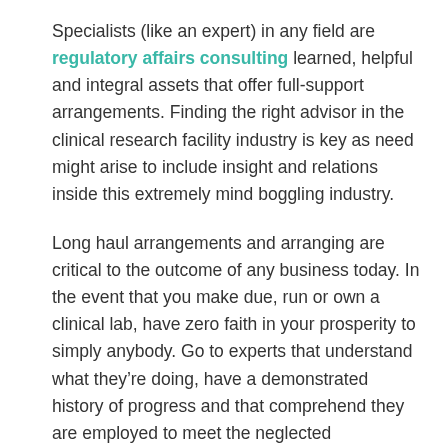Specialists (like an expert) in any field are regulatory affairs consulting learned, helpful and integral assets that offer full-support arrangements. Finding the right advisor in the clinical research facility industry is key as need might arise to include insight and relations inside this extremely mind boggling industry.
Long haul arrangements and arranging are critical to the outcome of any business today. In the event that you make due, run or own a clinical lab, have zero faith in your prosperity to simply anybody. Go to experts that understand what they’re doing, have a demonstrated history of progress and that comprehend they are employed to meet the neglected requirements of you (their client). Having the ideal responses brilliantly is the thing you’re paying for. Realize that you are safe and sound by searching out and recruiting a very much regarded firm when it comes time for your quest for a